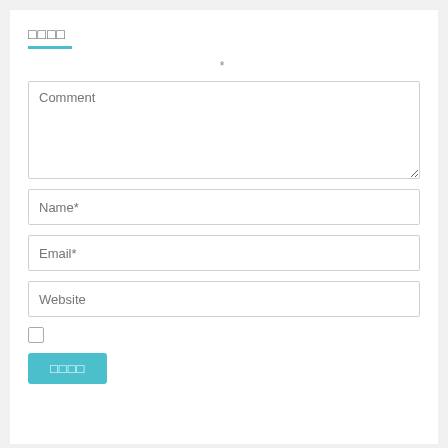□□□□
*
[Figure (screenshot): Comment textarea input field with placeholder text 'Comment']
[Figure (screenshot): Name* input field]
[Figure (screenshot): Email* input field]
[Figure (screenshot): Website input field]
[Figure (screenshot): Checkbox (unchecked)]
[Figure (screenshot): Submit button with label □□□□ in teal/cyan color]